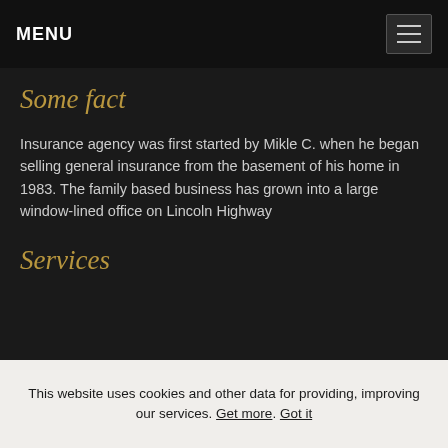MENU
Some fact
Insurance agency was first started by Mikle C. when he began selling general insurance from the basement of his home in 1983. The family based business has grown into a large window-lined office on Lincoln Highway
Services
This website uses cookies and other data for providing, improving our services. Get more. Got it